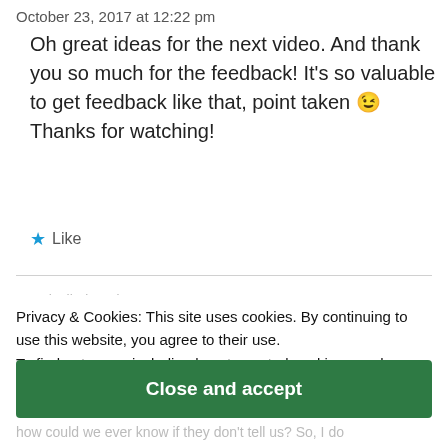October 23, 2017 at 12:22 pm
Oh great ideas for the next video. And thank you so much for the feedback! It's so valuable to get feedback like that, point taken 😉 Thanks for watching!
★ Like
LDG luciledegodoy
October 23, 2017 at 1:05 pm
Privacy & Cookies: This site uses cookies. By continuing to use this website, you agree to their use.
To find out more, including how to control cookies, see here:
Cookie Policy
Close and accept
how could we ever know if they don't tell us? So, I do